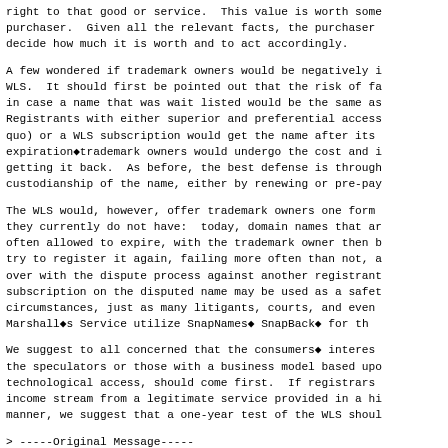right to that good or service.  This value is worth some purchaser.  Given all the relevant facts, the purchaser decide how much it is worth and to act accordingly.
A few wondered if trademark owners would be negatively i WLS.  It should first be pointed out that the risk of fa in case a name that was wait listed would be the same as Registrants with either superior and preferential access quo) or a WLS subscription would get the name after its expiration◆trademark owners would undergo the cost and i getting it back.  As before, the best defense is through custodianship of the name, either by renewing or pre-pay
The WLS would, however, offer trademark owners one form they currently do not have:  today, domain names that ar often allowed to expire, with the trademark owner then b try to register it again, failing more often than not, a over with the dispute process against another registrant subscription on the disputed name may be used as a safet circumstances, just as many litigants, courts, and even Marshall◆s Service utilize SnapNames◆ SnapBack◆ for th
We suggest to all concerned that the consumers◆ interes the speculators or those with a business model based upo technological access, should come first.  If registrars income stream from a legitimate service provided in a hi manner, we suggest that a one-year test of the WLS shoul
> -----Original Message-----
> From: Jeff Williams [mailto:jwkckid1@ix.netcom.com]